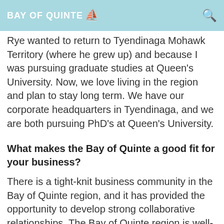BAY OF QUINTE
Rye wanted to return to Tyendinaga Mohawk Territory (where he grew up) and because I was pursuing graduate studies at Queen's University. Now, we love living in the region and plan to stay long term. We have our corporate headquarters in Tyendinaga, and we are both pursuing PhD's at Queen's University.
What makes the Bay of Quinte a good fit for your business?
There is a tight-knit business community in the Bay of Quinte region, and it has provided the opportunity to develop strong collaborative relationships. The Bay of Quinte region is well-known for its...